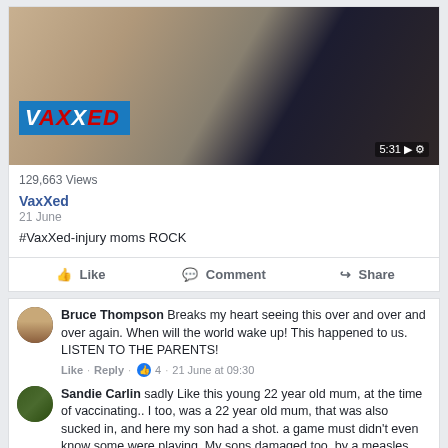[Figure (screenshot): Video thumbnail showing a person with blonde hair and the VaxXed movie logo overlay, with a video timer showing 5:31]
129,663 Views
VaxXed
21 June
#VaxXed-injury moms ROCK
Like  Comment  Share
Bruce Thompson Breaks my heart seeing this over and over and over again. When will the world wake up! This happened to us. LISTEN TO THE PARENTS!
Like · Reply · 4 · 21 June at 09:30
Sandie Carlin sadly Like this young 22 year old mum, at the time of vaccinating.. I too, was a 22 year old mum, that was also sucked in, and here my son had a shot. a game must didn't even know some were playing. My sons damaged too, by a measles vaccine. My heart crashes as I see others go through just as we have.
Like · Reply · 4 · 21 June at 09:35
Wendy Daniel Watching later
Like · Reply · 1 · 21 June at 09:45